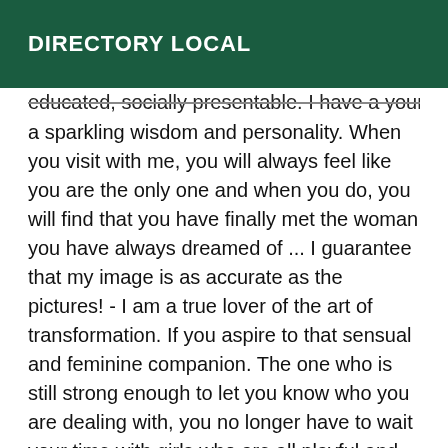DIRECTORY LOCAL
educated, socially presentable. I have a young mind and a sparkling wisdom and personality. When you visit with me, you will always feel like you are the only one and when you do, you will find that you have finally met the woman you have always dreamed of ... I guarantee that my image is as accurate as the pictures! - I am a true lover of the art of transformation. If you aspire to that sensual and feminine companion. The one who is still strong enough to let you know who you are dealing with, you no longer have to wait your time with girls who are all playful and full of games. I can promise you that you will leave, Longing, for your next meeting with me. We never rush and my conversation will be just as captivating as my appearance. ❤ SATISFACTION ALWAYS GUARANTEED ❤ 🌺Une hot girl with a big surprise just waiting for you ! - Beautiful, feminine, very horny and lends EVERYTHING TEMPS🌺 I speak: FR 🌺 IT 🌺 PT 🌺 PT 🌺 ES 🌺 My fees are 100% non-negotiable, as